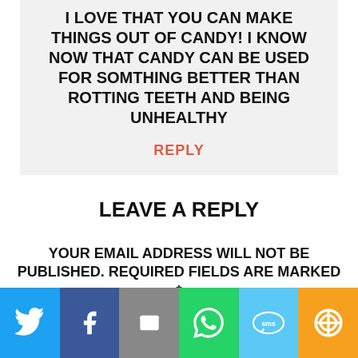I LOVE THAT YOU CAN MAKE THINGS OUT OF CANDY! I KNOW NOW THAT CANDY CAN BE USED FOR SOMTHING BETTER THAN ROTTING TEETH AND BEING UNHEALTHY
REPLY
LEAVE A REPLY
YOUR EMAIL ADDRESS WILL NOT BE PUBLISHED. REQUIRED FIELDS ARE MARKED *
[Figure (infographic): Social sharing bar with icons for Twitter, Facebook, Email, WhatsApp, SMS, and More]